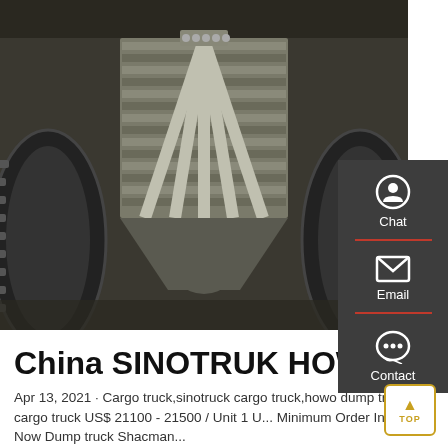[Figure (photo): Close-up photo of a truck undercarriage showing a heavy-duty axle/differential assembly with cooling fins, drive shafts, and large truck tires on either side. Dark metallic mechanical components visible.]
China SINOTRUK HOWO...
Apr 13, 2021 · Cargo truck,sinotruck cargo truck,howo dump truck, cargo truck US$ 21100 - 21500 / Unit 1 U... Minimum Order Inquire Now Dump truck Shacman...